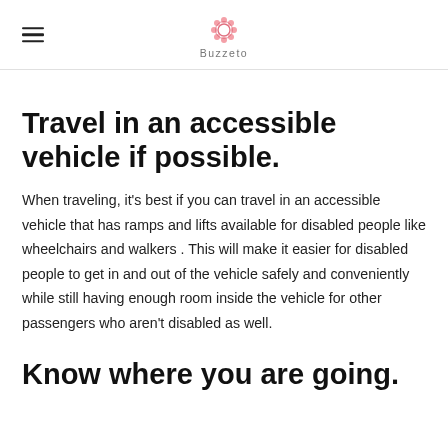Buzzeto
Travel in an accessible vehicle if possible.
When traveling, it's best if you can travel in an accessible vehicle that has ramps and lifts available for disabled people like wheelchairs and walkers . This will make it easier for disabled people to get in and out of the vehicle safely and conveniently while still having enough room inside the vehicle for other passengers who aren't disabled as well.
Know where you are going.